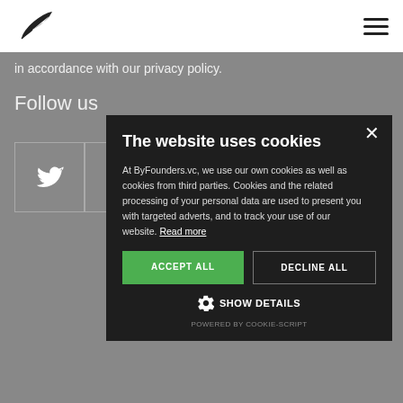ByFounders logo and navigation bar
in accordance with our privacy policy.
Follow us
[Figure (other): Social media icons: Twitter and Instagram in bordered square boxes]
The website uses cookies

At ByFounders.vc, we use our own cookies as well as cookies from third parties. Cookies and the related processing of your personal data are used to present you with targeted adverts, and to track your use of our website. Read more

ACCEPT ALL | DECLINE ALL

SHOW DETAILS

POWERED BY COOKIE-SCRIPT